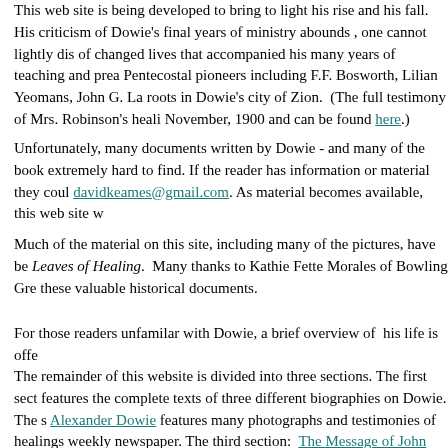This web site is being developed to bring to light his rise and his fall. His criticism of Dowie's final years of ministry abounds, one cannot lightly dismiss the thousands of changed lives that accompanied his many years of teaching and preaching. Many of the Pentecostal pioneers including F.F. Bosworth, Lilian Yeomans, John G. Lake had their roots in Dowie's city of Zion. (The full testimony of Mrs. Robinson's healing appeared in November, 1900 and can be found here.)
Unfortunately, many documents written by Dowie - and many of the books about him - are extremely hard to find. If the reader has information or material they could share, please email davidkeames@gmail.com. As material becomes available, this web site will be updated.
Much of the material on this site, including many of the pictures, have been scanned from Leaves of Healing. Many thanks to Kathie Fette Morales of Bowling Green, OH for sharing these valuable historical documents.
For those readers unfamilar with Dowie, a brief overview of his life is offered.
The remainder of this website is divided into three sections. The first section features the complete texts of three different biographies on Dowie. The second section: Alexander Dowie features many photographs and testimonies of healings from Dowie's weekly newspaper. The third section: The Message of John Alexander Dowie presents Dowie from Leaves of Healing.